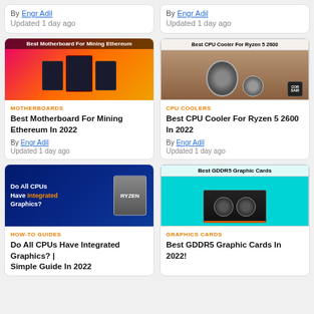By Engr Adil
Updated 1 day ago
By Engr Adil
Updated 1 day ago
[Figure (photo): Best Motherboard For Mining Ethereum – showing motherboards on pink/orange background]
MOTHERBOARDS
Best Motherboard For Mining Ethereum In 2022
By Engr Adil
Updated 1 day ago
[Figure (photo): Best CPU Cooler For Ryzen 5 2600 – showing CPU coolers on brown background]
CPU COOLERS
Best CPU Cooler For Ryzen 5 2600 In 2022
By Engr Adil
Updated 1 day ago
[Figure (photo): Do All CPUs Have Integrated Graphics? – dark blue background with Ryzen box]
HOW-TO GUIDES
Do All CPUs Have Integrated Graphics? | Simple Guide In 2022
[Figure (photo): Best GDDR5 Graphic Cards – cyan background with graphics card]
GRAPHICS CARDS
Best GDDR5 Graphic Cards In 2022!